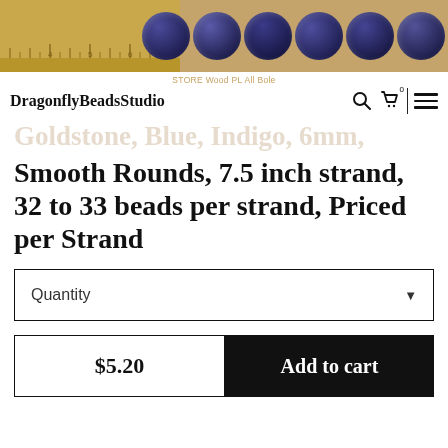[Figure (photo): Top portion of a product photo showing blue/indigo goldstone beads on a wooden ruler, dark beads arranged in a row against a tan/wood background]
DragonFlyBeadsStudio — navigation bar with search, cart, and menu icons. Store label: STORE Wood PL All Bole
Goldstone, Blue, Indigo, 6mm, Smooth Rounds, 7.5 inch strand, 32 to 33 beads per strand, Priced per Strand
Quantity (dropdown selector)
$5.20   Add to cart